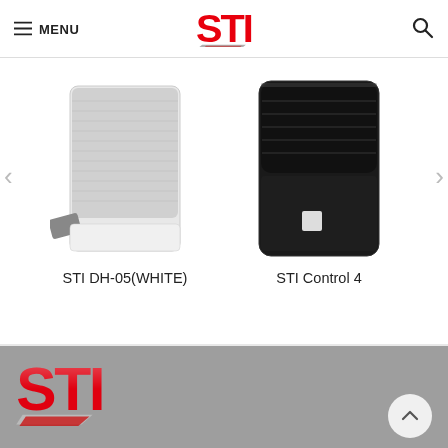STI - MENU [hamburger] [search icon]
[Figure (photo): White wall-mount speaker (STI DH-05 WHITE) on left, black speaker (STI Control 4) on right, product carousel with left/right arrows]
STI DH-05(WHITE)
STI Control 4
[Figure (logo): STI red block logo on grey footer background]
Back to top button (chevron up)